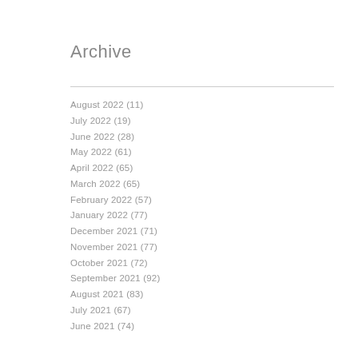Archive
August 2022 (11)
July 2022 (19)
June 2022 (28)
May 2022 (61)
April 2022 (65)
March 2022 (65)
February 2022 (57)
January 2022 (77)
December 2021 (71)
November 2021 (77)
October 2021 (72)
September 2021 (92)
August 2021 (83)
July 2021 (67)
June 2021 (74)